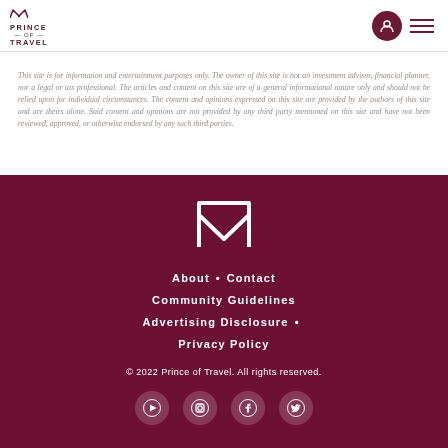[Figure (logo): Prince of Travel logo with crown icon and text]
[Figure (illustration): User account icon circle and hamburger menu icon]
This site is for information and entertainment purposes only. The owner of this site is not an investment advisor, financial planner, nor a legal or tax professional. The articles and content on this site are of a general informational nature only and should not be relied upon for individual circumstances. The content and opinions expressed on this site are provided by the authors of this site and are theirs alone. Said content and opinions are not provided by any third party mentioned on this site and have not been reviewed, approved, or otherwise endorsed by any such third parties.
[Figure (logo): Prince of Travel crown/M logo in white on dark maroon background]
About • Contact
Community Guidelines
Advertising Disclosure •
Privacy Policy
© 2022 Prince of Travel. All rights reserved.
[Figure (illustration): Social media icons: YouTube, Instagram, Facebook, Twitter]